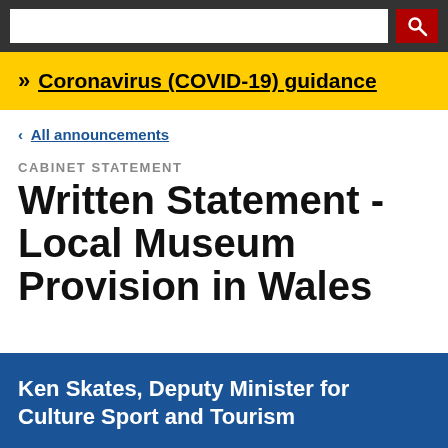Coronavirus (COVID-19) guidance
All announcements
CABINET STATEMENT
Written Statement - Local Museum Provision in Wales
Ken Skates, Deputy Minister for Culture Sport and Tourism